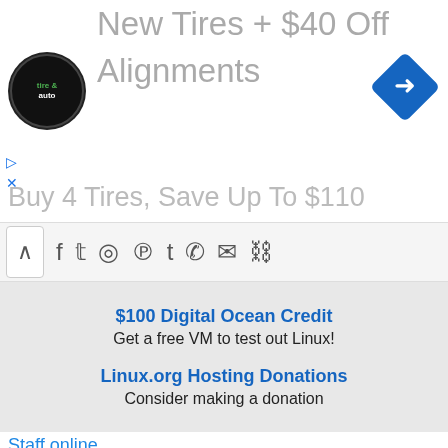[Figure (screenshot): Advertisement banner: tire and auto logo, 'New Tires + $40 Off Alignments', 'Buy 4 Tires, Save Up To $110', blue diamond navigation icon, play/close controls]
[Figure (screenshot): Social sharing toolbar with up arrow, Facebook, Twitter, Reddit, Pinterest, Tumblr, WhatsApp, Email, and link icons]
[Figure (screenshot): Advertisement sidebar: '$100 Digital Ocean Credit - Get a free VM to test out Linux!' and 'Linux.org Hosting Donations - Consider making a donation' on grey background]
Staff online
[Figure (photo): Avatar of user wizardfromoz - circular profile photo with dark hat]
wizardfromoz
Administrator
Members online